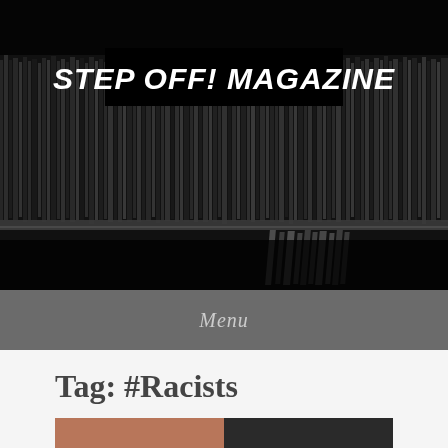[Figure (photo): Black and white close-up photograph of vinyl records stacked and viewed from the side, with the Step Off! Magazine logo overlaid in white graffiti-style text on a black background]
Menu
Tag: #Racists
[Figure (photo): Partial photograph of a person, appearing as a cropped image at the bottom of the page]